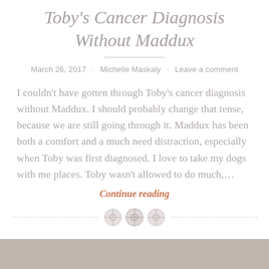Toby's Cancer Diagnosis Without Maddux
March 26, 2017 · Michelle Maskaly · Leave a comment
I couldn't have gotten through Toby's cancer diagnosis without Maddux. I should probably change that tense, because we are still going through it. Maddux has been both a comfort and a much need distraction, especially when Toby was first diagnosed. I love to take my dogs with me places. Toby wasn't allowed to do much,...
Continue reading
[Figure (illustration): Decorative section separator with three button icons centered between dashed lines]
[Figure (photo): Partial photo strip at the bottom of the page, showing a dark brownish/grey image, likely a dog photo]